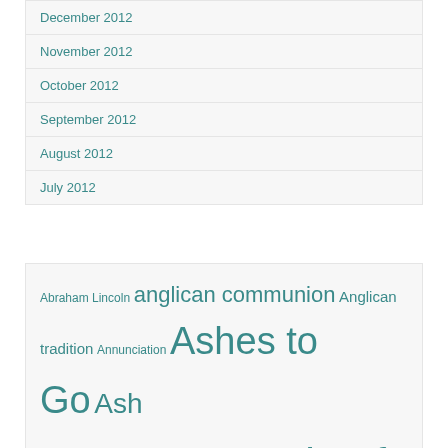December 2012
November 2012
October 2012
September 2012
August 2012
July 2012
Abraham Lincoln  anglican communion  Anglican tradition  Annunciation  Ashes to Go  Ash Wednesday  baptism  Body of Christ